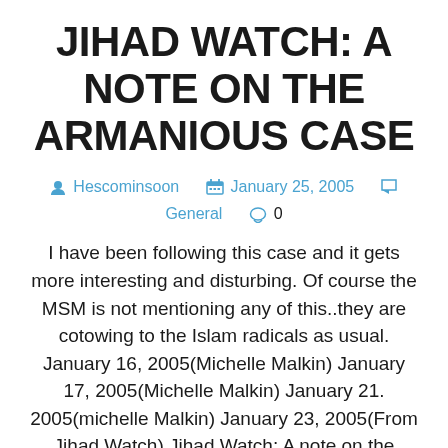JIHAD WATCH: A NOTE ON THE ARMANIOUS CASE
Hescominsoon   January 25, 2005   General   0
I have been following this case and it gets more interesting and disturbing. Of course the MSM is not mentioning any of this..they are cotowing to the Islam radicals as usual. January 16, 2005(Michelle Malkin) January 17, 2005(Michelle Malkin) January 21. 2005(michelle Malkin) January 23, 2005(From Jihad Watch) Jihad Watch: A note on the Armanious… Read more